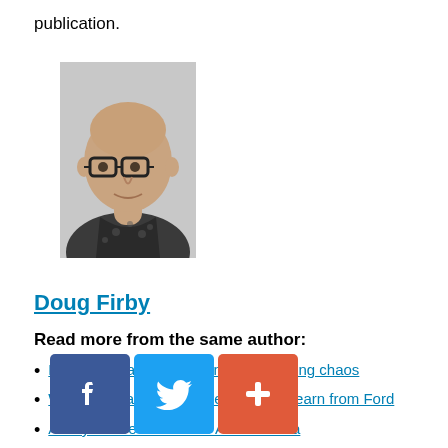publication.
[Figure (photo): Headshot of Doug Firby, an older bald man wearing glasses and a dark patterned shirt.]
Doug Firby
Read more from the same author:
Leadership and the options for resolving chaos
What Alberta conservatives may not learn from Ford
An icy torture test for the AWD Sienna
[Figure (infographic): Social sharing buttons: Facebook (blue), Twitter (blue), and a red plus/share button.]